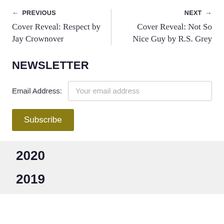← PREVIOUS
Cover Reveal: Respect by Jay Crownover
NEXT →
Cover Reveal: Not So Nice Guy by R.S. Grey
NEWSLETTER
Email Address: Your email address
Subscribe
2020
2019